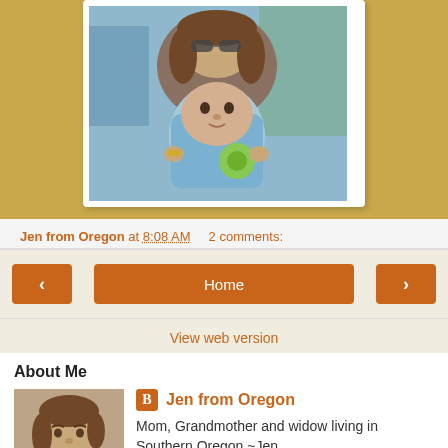[Figure (photo): Photo of a woman holding a baby, woman and infant smiling, outdoor setting with bluish tones]
Jen from Oregon at 8:08 AM   2 comments:
< Home > View web version
About Me
[Figure (photo): Profile photo of a woman with brown hair, wearing a plaid shirt]
Jen from Oregon
Mom, Grandmother and widow living in Southern Oregon ~Jen
View my complete profile